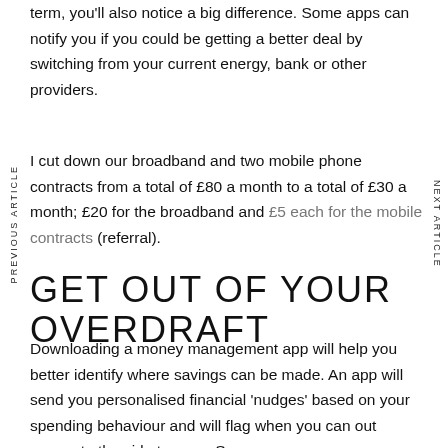term, you'll also notice a big difference. Some apps can notify you if you could be getting a better deal by switching from your current energy, bank or other providers.
I cut down our broadband and two mobile phone contracts from a total of £80 a month to a total of £30 a month; £20 for the broadband and £5 each for the mobile contracts (referral).
GET OUT OF YOUR OVERDRAFT
Downloading a money management app will help you better identify where savings can be made. An app will send you personalised financial 'nudges' based on your spending behaviour and will flag when you can out money to the side to save. Some apps can even